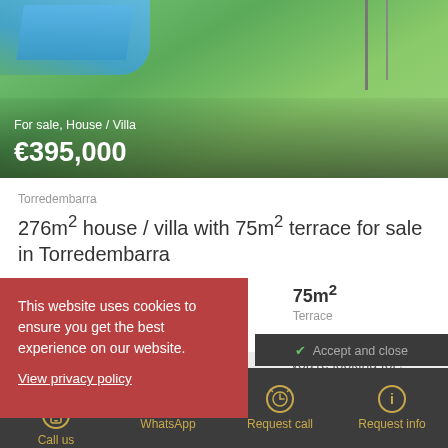[Figure (photo): Outdoor photo showing green grass lawn with blue tarp/cover and fence in background, with price overlay showing 'For sale, House / Villa' and '€395,000']
Torredembarra
276m² house / villa with 75m² terrace for sale in Torredembarra
4 Bedrooms | 276m² Floorplan | 75m² Terrace
This website uses cookies to ensure you get the best experience on our website. View privacy policy
you're looking for?
Accept and close
Call us | WhatsApp | Request call | Request info